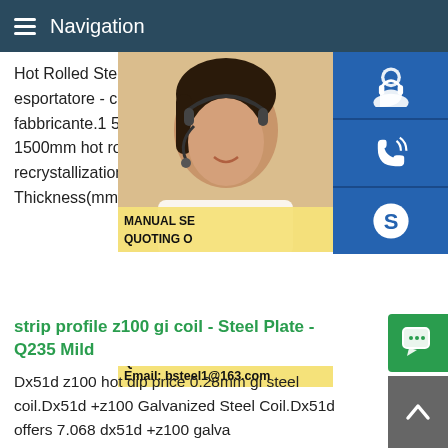Navigation
Hot Rolled Steel CoilTranslate this pagequ steel coil support#224; bobina d'acciaio zi esportatore - comprare Bobina d'acciaio g calda Q195/Q235/Q235B di colore di DX5 fabbricante.1 5mm 1500mm hot rolled ste Steel..SS400 hot rolled steel coil for steel 1500mm hot rolled steel coil q235.Cold ro from hot rolled steel coil at room temperatu recrystallization temperature.With good su gloss.1 5mm 1500mm hot rolled steel coil Thickness(mm) Cold rolled steel coil (CR
[Figure (photo): Woman with headset customer service photo with blue icon buttons for chat, phone, and Skype, plus a manual service/quoting overlay with email bsteel1@163.com]
strip profile z100 gi coil - Steel Plate - Q235 Mild
Dx51d z100 hot dip price 0.28mm gi steel coil.Dx51d +z100 Galvanized Steel Coil.Dx51d offers 7.068 dx51d +z100 galva